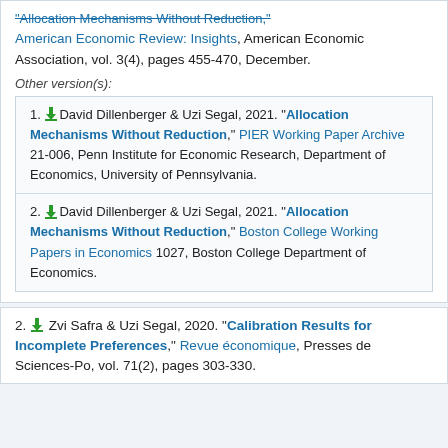"Allocation Mechanisms Without Reduction," American Economic Review: Insights, American Economic Association, vol. 3(4), pages 455-470, December.
Other version(s):
1. David Dillenberger & Uzi Segal, 2021. "Allocation Mechanisms Without Reduction," PIER Working Paper Archive 21-006, Penn Institute for Economic Research, Department of Economics, University of Pennsylvania.
2. David Dillenberger & Uzi Segal, 2021. "Allocation Mechanisms Without Reduction," Boston College Working Papers in Economics 1027, Boston College Department of Economics.
2. Zvi Safra & Uzi Segal, 2020. "Calibration Results for Incomplete Preferences," Revue économique, Presses de Sciences-Po, vol. 71(2), pages 303-330.